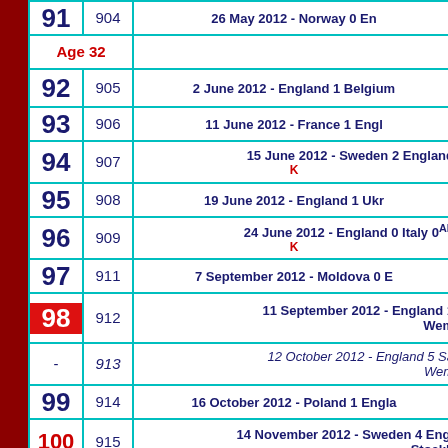| Cap | App | Match |
| --- | --- | --- |
| 91 | 904 | 26 May 2012 - Norway 0 Eng... |
| Age 32 |  |  |
| 92 | 905 | 2 June 2012 - England 1 Belgium... |
| 93 | 906 | 11 June 2012 - France 1 Engl... |
| 94 | 907 | 15 June 2012 - Sweden 2 England... K... |
| 95 | 908 | 19 June 2012 - England 1 Ukr... |
| 96 | 909 | 24 June 2012 - England 0 Italy 0... K... |
| 97 | 911 | 7 September 2012 - Moldova 0 E... |
| 98 | 912 | 11 September 2012 - England 1... Wem... |
| - | 913 | 12 October 2012 - England 5 Sa... Wem... |
| 99 | 914 | 16 October 2012 - Poland 1 Engla... |
| 100 | 915 | 14 November 2012 - Sweden 4 Engl... Stockh... |
| 101 | 916 | 6 February 2013 - England 2 Braz... |
| - | 917 | 22 March 2013 - San Marino 0 Eng... |